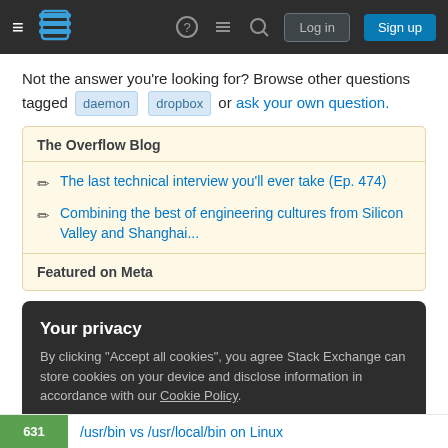[Figure (screenshot): Stack Exchange navigation bar with hamburger menu, logo, help icon, chat icon, search icon, Log in and Sign up buttons on dark background]
Not the answer you're looking for? Browse other questions tagged daemon dropbox or ask your own question.
The Overflow Blog
The last technical interview you'll ever take (Ep. 474)
Combining the best of engineering cultures from Silicon Valley and Shanghai...
Featured on Meta
Your privacy
By clicking "Accept all cookies", you agree Stack Exchange can store cookies on your device and disclose information in accordance with our Cookie Policy.
631  /usr/bin vs /usr/local/bin on Linux